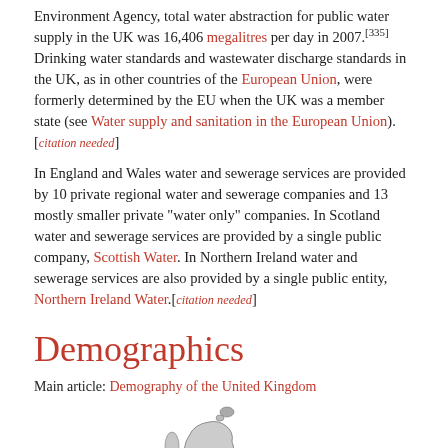Environment Agency, total water abstraction for public water supply in the UK was 16,406 megalitres per day in 2007.[335] Drinking water standards and wastewater discharge standards in the UK, as in other countries of the European Union, were formerly determined by the EU when the UK was a member state (see Water supply and sanitation in the European Union).[citation needed]
In England and Wales water and sewerage services are provided by 10 private regional water and sewerage companies and 13 mostly smaller private "water only" companies. In Scotland water and sewerage services are provided by a single public company, Scottish Water. In Northern Ireland water and sewerage services are also provided by a single public entity, Northern Ireland Water.[citation needed]
Demographics
Main article: Demography of the United Kingdom
[Figure (map): Population density map of the United Kingdom showing regions shaded by persons per hectare, with legend: 0 to 0.2, 0.2 to 1, 1 to 5, 5 to 10, 10 to 20 persons per hectare.]